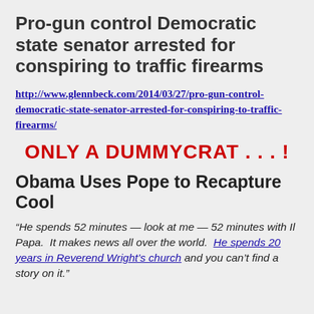Pro-gun control Democratic state senator arrested for conspiring to traffic firearms
http://www.glennbeck.com/2014/03/27/pro-gun-control-democratic-state-senator-arrested-for-conspiring-to-traffic-firearms/
ONLY A DUMMYCRAT . . . !
Obama Uses Pope to Recapture Cool
“He spends 52 minutes — look at me — 52 minutes with Il Papa.  It makes news all over the world.  He spends 20 years in Reverend Wright’s church and you can’t find a story on it.”